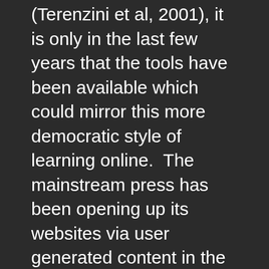(Terenzini et al, 2001), it is only in the last few years that the tools have been available which could mirror this more democratic style of learning online.  The mainstream press has been opening up its websites via user generated content in the form of blogs and forums (and more recently, rich media (Plesser, 2006)) since the very beginning of the twenty first century – allowing the public to have a voice (Jenny, 2003).  University websites seem to have limited the use of Web 2.0 tools to the domain of E-learning, conveniently maintaining complete institutional control over public facing content.  Initially conceived as a social networking mashup space, the SPLASH project was intended to create more than just an E-learning space – the blogging aspect can be